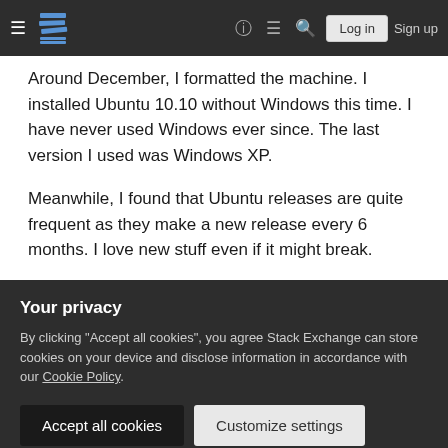Stack Exchange navigation bar with hamburger menu, logo, icons, Log in and Sign up buttons
Around December, I formatted the machine. I installed Ubuntu 10.10 without Windows this time. I have never used Windows ever since. The last version I used was Windows XP.
Meanwhile, I found that Ubuntu releases are quite frequent as they make a new release every 6 months. I love new stuff even if it might break.
Then came the 11.04 upgrade. I found out about do-release-upgrade . I run the command in the terminal as that is cooler than a GUI. It starts
Your privacy
By clicking "Accept all cookies", you agree Stack Exchange can store cookies on your device and disclose information in accordance with our Cookie Policy.
Accept all cookies   Customize settings
Sometime later, after I forgot about the